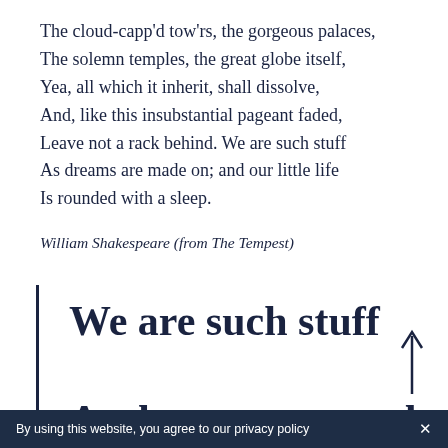The cloud-capp'd tow'rs, the gorgeous palaces,
The solemn temples, the great globe itself,
Yea, all which it inherit, shall dissolve,
And, like this insubstantial pageant faded,
Leave not a rack behind. We are such stuff
As dreams are made on; and our little life
Is rounded with a sleep.
William Shakespeare (from The Tempest)
We are such stuff

As dreams are made on;

and our little life
By using this website, you agree to our privacy policy